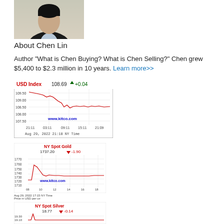[Figure (photo): Headshot photo of Chen Lin, a man in a dark jacket]
About Chen Lin
Author "What is Chen Buying? What is Chen Selling?" Chen grew $5,400 to $2.3 million in 10 years. Learn more>>
[Figure (line-chart): USD Index line chart showing 108.69 +0.04, Aug 29, 2022 21:10 NY Time, www.kitco.com]
[Figure (line-chart): NY Spot Gold line chart showing 1737.20 -1.90, Aug 29 2022 17:15 NY Time, Price in USD per oz, www.kitco.com]
[Figure (line-chart): NY Spot Silver line chart showing 18.77 -0.14 (partially visible)]